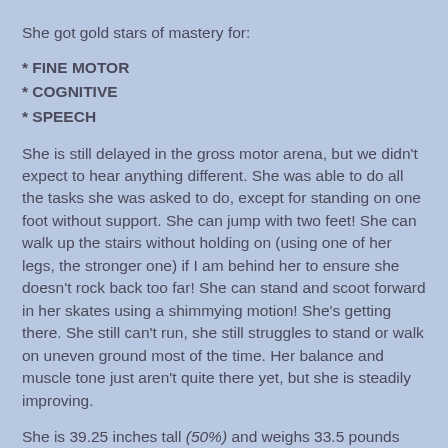She got gold stars of mastery for:
* FINE MOTOR
* COGNITIVE
* SPEECH
She is still delayed in the gross motor arena, but we didn't expect to hear anything different. She was able to do all the tasks she was asked to do, except for standing on one foot without support. She can jump with two feet! She can walk up the stairs without holding on (using one of her legs, the stronger one) if I am behind her to ensure she doesn't rock back too far! She can stand and scoot forward in her skates using a shimmying motion! She's getting there. She still can't run, she still struggles to stand or walk on uneven ground most of the time. Her balance and muscle tone just aren't quite there yet, but she is steadily improving.
She is 39.25 inches tall (50%) and weighs 33.5 pounds (45%)! The tube triumphs again!